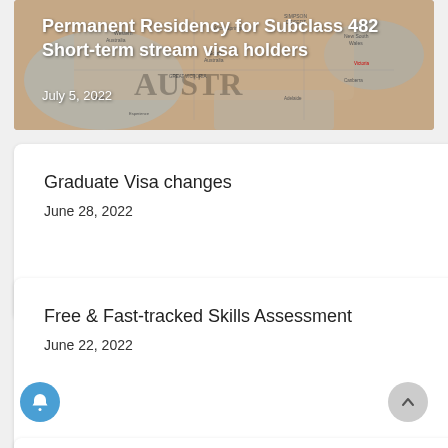[Figure (photo): Map of Australia used as a header image background with overlay text]
Permanent Residency for Subclass 482 Short-term stream visa holders
July 5, 2022
Graduate Visa changes
June 28, 2022
Free & Fast-tracked Skills Assessment
June 22, 2022